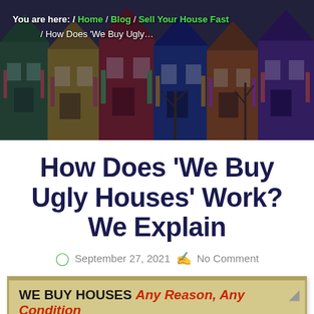[Figure (photo): Hero image of colorful rowhouses in a neighborhood, with a dark overlay]
You are here: / Home / Blog / Sell Your House Fast / How Does ‘We Buy Ugly…
How Does ‘We Buy Ugly Houses’ Work? We Explain
September 27, 2021   No Comment
WE BUY HOUSES Any Reason, Any Condition